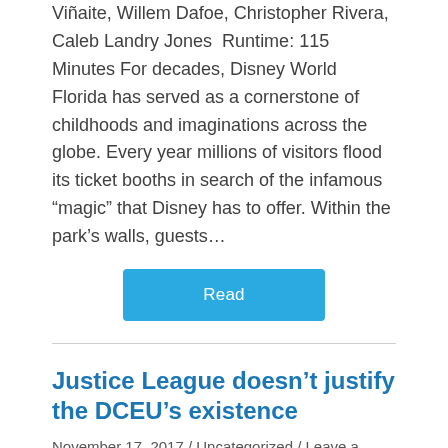Viñaite, Willem Dafoe, Christopher Rivera, Caleb Landry Jones  Runtime: 115 Minutes For decades, Disney World Florida has served as a cornerstone of childhoods and imaginations across the globe. Every year millions of visitors flood its ticket booths in search of the infamous “magic” that Disney has to offer. Within the park’s walls, guests…
Read
Justice League doesn’t justify the DCEU’s existence
November 17, 2017 / Uncategorized / Leave a Reply
Director: Zack Synder  Starring: Ben Affleck, Gal Gadot, Jason Momoa, Erza Miller, Ray Fisher, J.K. Simmons,